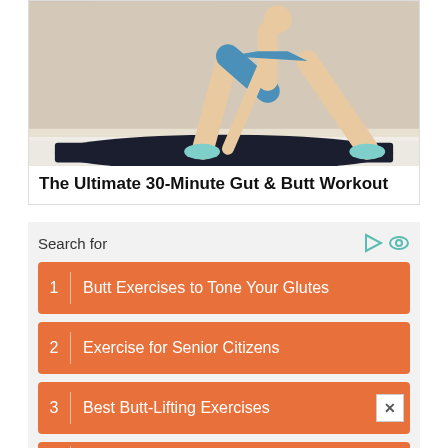[Figure (photo): Person in workout clothes performing a lunge exercise on a dark yoga mat on a white fluffy carpet, wearing teal/mint athletic shoes]
The Ultimate 30-Minute Gut & Butt Workout
Search for
1  Butt Exercises to Tone Your Glutes
2  Exercise for Senior Citizens
3  Best Butt-Lifting Exercises
4  Tips to Burn Stomach Fat Quickly